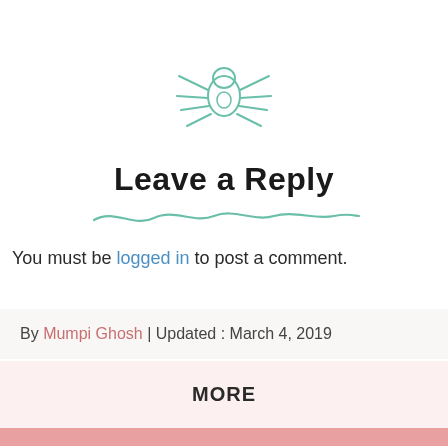[Figure (illustration): A simple line-art spider illustration in teal/sage green color, showing a round body with legs spread outward.]
Leave a Reply
[Figure (illustration): A decorative wavy line in teal/sage green color, spanning horizontally below the title.]
You must be logged in to post a comment.
By Mumpi Ghosh | Updated : March 4, 2019
MORE